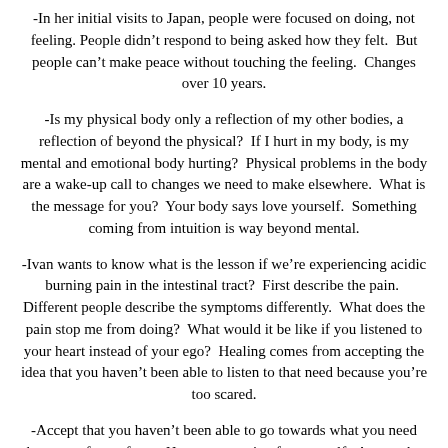-In her initial visits to Japan, people were focused on doing, not feeling. People didn't respond to being asked how they felt. But people can't make peace without touching the feeling. Changes over 10 years.
-Is my physical body only a reflection of my other bodies, a reflection of beyond the physical? If I hurt in my body, is my mental and emotional body hurting? Physical problems in the body are a wake-up call to changes we need to make elsewhere. What is the message for you? Your body says love yourself. Something coming from intuition is way beyond mental.
-Ivan wants to know what is the lesson if we're experiencing acidic burning pain in the intestinal tract? First describe the pain. Different people describe the symptoms differently. What does the pain stop me from doing? What would it be like if you listened to your heart instead of your ego? Healing comes from accepting the idea that you haven't been able to listen to that need because you're too scared.
-Accept that you haven't been able to go towards what you need because of your fears. Have compassion for yourself. Accept the negative and the positive of each attitude.